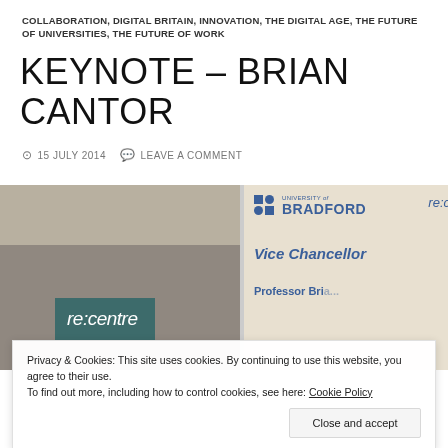COLLABORATION, DIGITAL BRITAIN, INNOVATION, THE DIGITAL AGE, THE FUTURE OF UNIVERSITIES, THE FUTURE OF WORK
KEYNOTE – BRIAN CANTOR
15 JULY 2014   LEAVE A COMMENT
[Figure (photo): Photo of a conference setting with a re:centre banner on the left and a University of Bradford presentation slide on the right showing 'Vice Chancellor' and 'Professor Bria...' text]
Privacy & Cookies: This site uses cookies. By continuing to use this website, you agree to their use. To find out more, including how to control cookies, see here: Cookie Policy
Close and accept